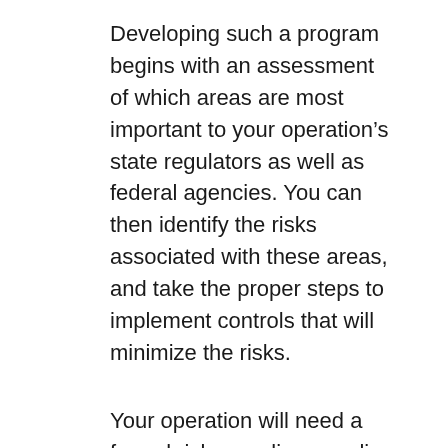Developing such a program begins with an assessment of which areas are most important to your operation’s state regulators as well as federal agencies. You can then identify the risks associated with these areas, and take the proper steps to implement controls that will minimize the risks.
Your operation will need a formal risk compliance policy manual that puts these steps down in black and white, so department heads and employees can easily review and implement your risk compliance procedures. This should be a living document that is regularly reviewed and updated to reflect lessons learned, new guidelines issued, and